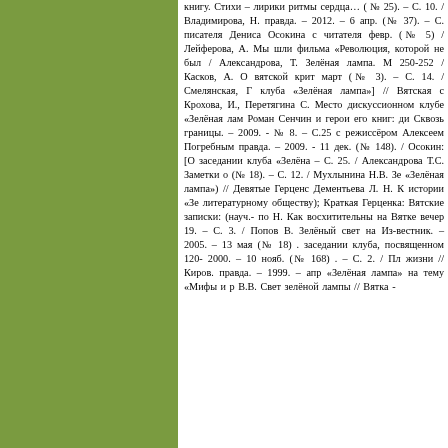книгу. Стихи – лирики ритмы сердца… ( № 25). – С. 10. / Владимирова, Н. правда. – 2012. – 6 апр. (№ 37). – С. писателя Дениса Осокина с читателя февр. (№ 5) / Лейферова, А. Мы шли фильма «Революция, которой не был / Александрова, Т. Зелёная лампа. М 250-252 / Касков, А. О вятской крит март (№ 3). – С. 14. / Смелянская, Г клуба «Зелёная лампа»] // Вятская с Крохова, И., Перетягина С. Место дискуссионном клубе «Зелёная лам Роман Сенчин и герои его книг: ди Сквозь границы. – 2009. - № 8. – С.25 с режиссёром Алексеем Погребным правда. – 2009. - 11 дек. (№ 148). / Осокин: [О заседании клуба «Зелёна – С. 25. / Александрова Т.С. Заметки о (№ 18). – С. 12. / Мухлынина Н.В. Зе «Зелёная лампа») // Девятые Герценс Дементьева Л. Н. К истории «Зе литературному обществу); Краткая Герценка: Вятские записки: (науч.- по Н. Как восхитительны на Вятке вечер 19. – С. 3. / Попов В. Зелёный свет на Из-вестник. – 2005. – 13 мая (№ 18) . заседании клуба, посвященном 120- 2000. – 10 нояб. (№ 168) . – С. 2. / Пл жизни // Киров. правда. – 1999. – апр «Зелёная лампа» на тему «Мифы и р В.В. Свет зелёной лампы // Вятка -